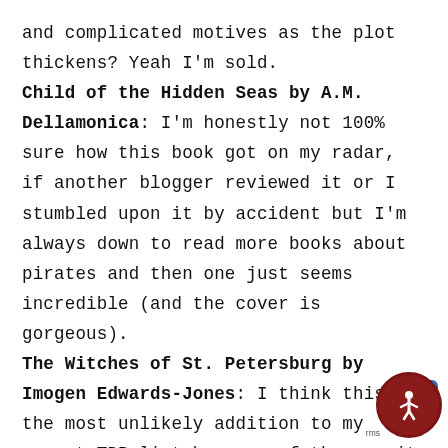and complicated motives as the plot thickens? Yeah I'm sold. Child of the Hidden Seas by A.M. Dellamonica: I'm honestly not 100% sure how this book got on my radar, if another blogger reviewed it or I stumbled upon it by accident but I'm always down to read more books about pirates and then one just seems incredible (and the cover is gorgeous). The Witches of St. Petersburg by Imogen Edwards-Jones: I think this is the most unlikely addition to my recent TBR list because of the way it happened thanks to a Goodreads ad that pitched